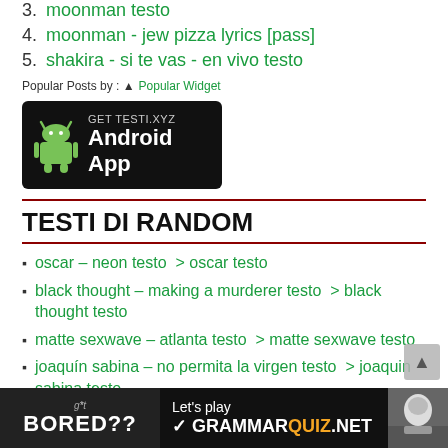3. moonman testo
4. moonman - jew pizza lyrics [pass]
5. shakira - si te vas - en vivo testo
Popular Posts by : ▲ Popular Widget
[Figure (other): Android app promotional banner for TESTI.XYZ with GET TESTI.XYZ / Android App text on black background with green Android robot icon]
TESTI DI RANDOM
oscar – neon testo > oscar testo
black thought – making a murderer testo > black thought testo
matte sexwave – atlanta testo > matte sexwave testo
joaquín sabina – no permita la virgen testo > joaquin sabina testo
e-type – campione 2000 – radio version testo > e type testo
[Figure (other): BORED?? Let's play GRAMMARQUIZ.NET promotional banner at bottom of page]